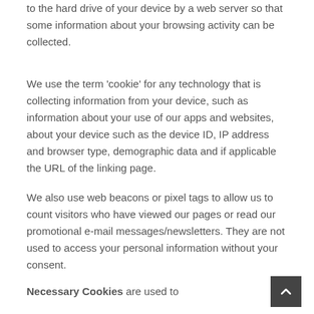to the hard drive of your device by a web server so that some information about your browsing activity can be collected.
We use the term 'cookie' for any technology that is collecting information from your device, such as information about your use of our apps and websites, about your device such as the device ID, IP address and browser type, demographic data and if applicable the URL of the linking page.
We also use web beacons or pixel tags to allow us to count visitors who have viewed our pages or read our promotional e-mail messages/newsletters. They are not used to access your personal information without your consent.
Necessary Cookies are used to